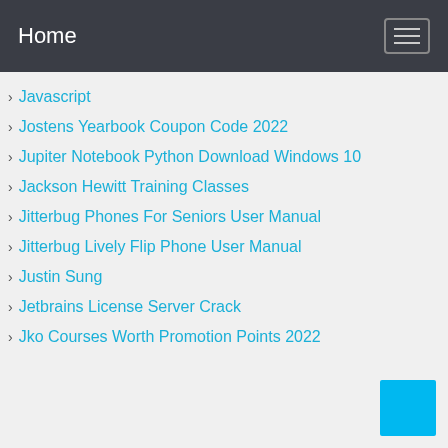Home
Javascript
Jostens Yearbook Coupon Code 2022
Jupiter Notebook Python Download Windows 10
Jackson Hewitt Training Classes
Jitterbug Phones For Seniors User Manual
Jitterbug Lively Flip Phone User Manual
Justin Sung
Jetbrains License Server Crack
Jko Courses Worth Promotion Points 2022